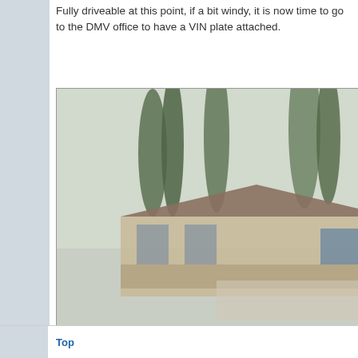Fully driveable at this point, if a bit windy, it is now time to go to the DMV office to have a VIN plate attached.
[Figure (photo): A truck with a flatbed trailer in a residential driveway. The black truck is hitched to a black car hauler trailer. In the background is a house with a porch and tall cypress trees. The photo has a stock photo watermark overlay.]
Top